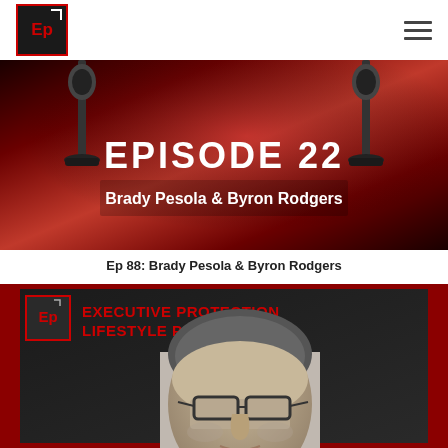Ep logo and hamburger menu navigation
[Figure (photo): Episode 22 banner with dark red gradient background, microphone stands on left and right, white bold text 'EPISODE 22' and white bold text 'Brady Pesola & Byron Rodgers']
Ep 88: Brady Pesola & Byron Rodgers
[Figure (photo): Executive Protection Lifestyle Podcast promotional image with dark background, red border frame, Ep logo in red square on left, red bold text 'EXECUTIVE PROTECTION LIFESTYLE PODCAST', and photo of a man with salt-and-pepper hair and glasses]